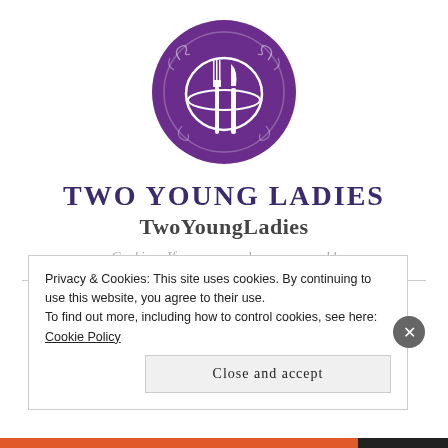[Figure (logo): Circular purple logo with decorative swirls, containing a white fork and knife on a plate — Two Young Ladies cooking blog logo]
TWO YOUNG LADIES
TwoYoungLadies
Cooking: If you can read, you can cook!
Privacy & Cookies: This site uses cookies. By continuing to use this website, you agree to their use.
To find out more, including how to control cookies, see here: Cookie Policy
Close and accept